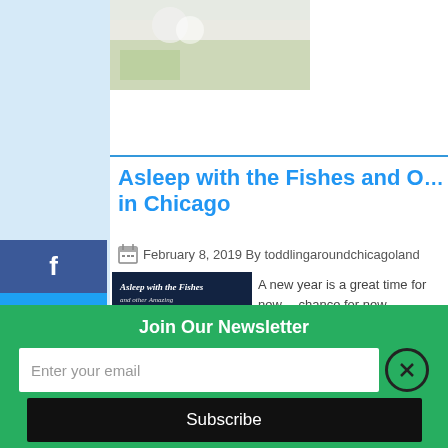[Figure (photo): Top partial photo showing snow/ice on green surface]
[Figure (other): Facebook share button sidebar icon]
[Figure (other): Twitter share button sidebar icon]
[Figure (other): LinkedIn share button sidebar icon]
[Figure (other): Pinterest share button sidebar icon]
[Figure (other): Reddit share button sidebar icon]
Asleep with the Fishes and O... in Chicago
February 8, 2019 By toddlingaroundchicagoland
[Figure (photo): Clownfish thumbnail image with text 'Asleep with the Fishes and other Amazing Overnight Overnights in Chicago']
A new year is a great time for new... chance for new experiences and p... Grab a sleeping bag, toothbrush, a... these overnights will sell out quick...
Join Our Newsletter
Enter your email
Subscribe